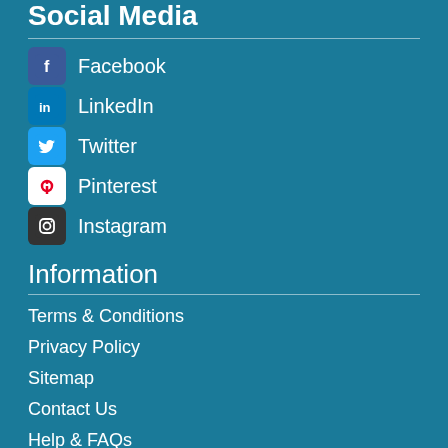Social Media
Facebook
LinkedIn
Twitter
Pinterest
Instagram
Information
Terms & Conditions
Privacy Policy
Sitemap
Contact Us
Help & FAQs
My Venuefinder
my venuefinder
my favourite venues
my saved searches